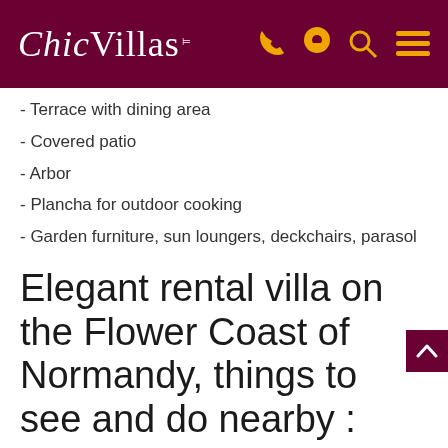ChicVillas
- Terrace with dining area
- Covered patio
- Arbor
- Plancha for outdoor cooking
- Garden furniture, sun loungers, deckchairs, parasol
Elegant rental villa on the Flower Coast of Normandy, things to see and do nearby :
Seaside resorts